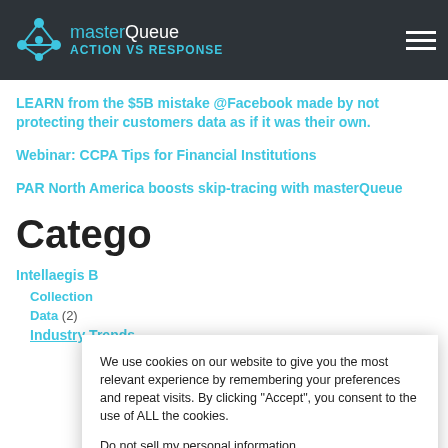masterQueue ACTION VS RESPONSE
LEARN from the $5B mistake @Facebook made by not protecting their customers data as if it was their own.
Webinar: CCPA Tips for Financial Institutions
PAR North America boosts skip-tracing with masterQueue
Catego
Intellaegis B
Collection
Data (2)
Industry Trends (12)
We use cookies on our website to give you the most relevant experience by remembering your preferences and repeat visits. By clicking “Accept”, you consent to the use of ALL the cookies. Do not sell my personal information.